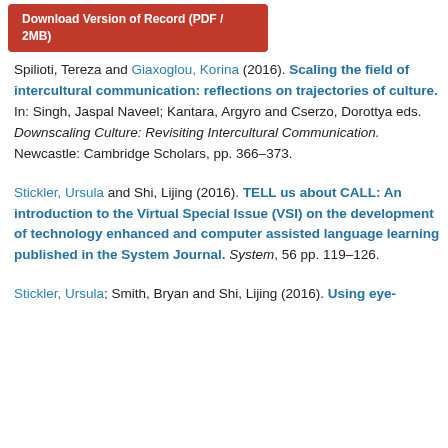[Figure (other): Orange/red download button with text 'Download Version of Record (PDF / 2MB)']
Spilioti, Tereza and Giaxoglou, Korina (2016). Scaling the field of intercultural communication: reflections on trajectories of culture. In: Singh, Jaspal Naveel; Kantara, Argyro and Cserzo, Dorottya eds. Downscaling Culture: Revisiting Intercultural Communication. Newcastle: Cambridge Scholars, pp. 366–373.
Stickler, Ursula and Shi, Lijing (2016). TELL us about CALL: An introduction to the Virtual Special Issue (VSI) on the development of technology enhanced and computer assisted language learning published in the System Journal. System, 56 pp. 119–126.
Stickler, Ursula; Smith, Bryan and Shi, Lijing (2016). Using eye-